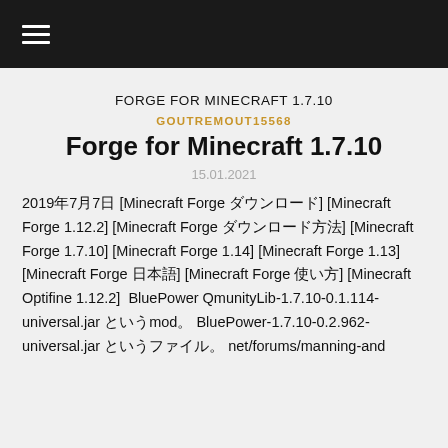≡ (navigation bar)
FORGE FOR MINECRAFT 1.7.10󾓦󾓦󾓦󾓦󾓦󾓦
GOUTREMOUT15568
Forge for Minecraft 1.7.10󾓦󾓦󾓦󾓦󾓦󾓦
15.01.2021
2019年7月7日 [Minecraft Forge ダウンロード] [Minecraft Forge 1.12.2] [Minecraft Forge ダウンロード方法] [Minecraft Forge 1.7.10] [Minecraft Forge 1.14] [Minecraft Forge 1.13] [Minecraft Forge 日本語] [Minecraft Forge 使い方] [Minecraft Optifine 1.12.2]  BluePower QmunityLib-1.7.10-0.1.114-universal.jar というmod。 BluePower-1.7.10-0.2.962-universal.jar というファイル。 net/forums/manning-and